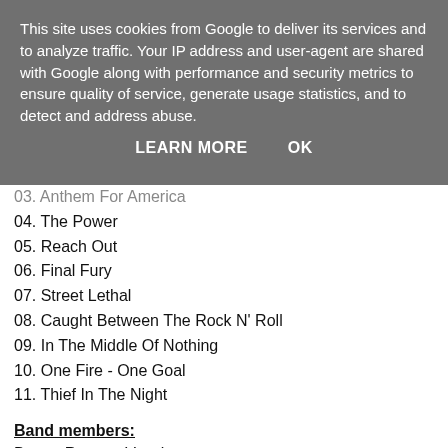This site uses cookies from Google to deliver its services and to analyze traffic. Your IP address and user-agent are shared with Google along with performance and security metrics to ensure quality of service, generate usage statistics, and to detect and address abuse.
LEARN MORE   OK
03. Anthem For America
04. The Power
05. Reach Out
06. Final Fury
07. Street Lethal
08. Caught Between The Rock N' Roll
09. In The Middle Of Nothing
10. One Fire - One Goal
11. Thief In The Night
Band members:
Danny Rexon - Vocals
Jens Anderson - Bass
Joél Cirera - Drums
Chrisse Olsson - Guitar